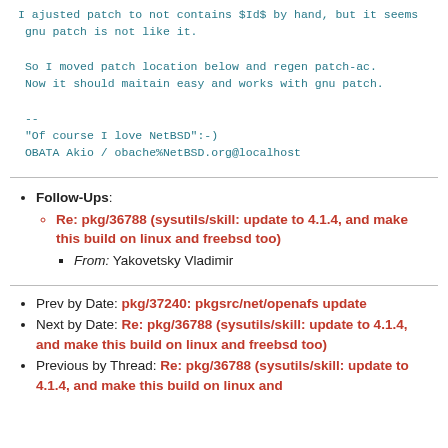I ajusted patch to not contains $Id$ by hand, but it seems
 gnu patch is not like it.

 So I moved patch location below and regen patch-ac.
 Now it should maitain easy and works with gnu patch.

 --
 "Of course I love NetBSD":-)
 OBATA Akio / obache%NetBSD.org@localhost
Follow-Ups: Re: pkg/36788 (sysutils/skill: update to 4.1.4, and make this build on linux and freebsd too) — From: Yakovetsky Vladimir
Prev by Date: pkg/37240: pkgsrc/net/openafs update
Next by Date: Re: pkg/36788 (sysutils/skill: update to 4.1.4, and make this build on linux and freebsd too)
Previous by Thread: Re: pkg/36788 (sysutils/skill: update to 4.1.4, and make this build on linux and